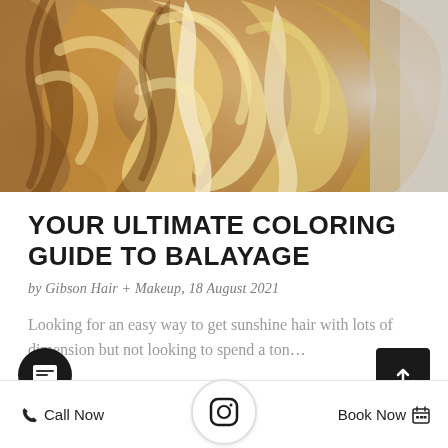[Figure (photo): Close-up photo of curly blonde balayage hair with golden highlights and dimension]
YOUR ULTIMATE COLORING GUIDE TO BALAYAGE
by Gibson Hair + Makeup, 18 August 2021
Looking for an easy way to get sunshine hair with lots of dimension but not looking to spend a ton...
Call Now  [Instagram]  Book Now